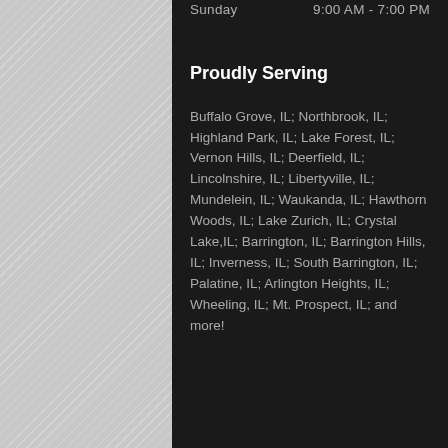Sunday    9:00 AM - 7:00 PM
Proudly Serving
Buffalo Grove, IL; Northbrook, IL; Highland Park, IL; Lake Forest, IL; Vernon Hills, IL; Deerfield, IL; Lincolnshire, IL; Libertyville, IL; Mundelein, IL; Waukanda, IL; Hawthorn Woods, IL; Lake Zurich, IL; Crystal Lake,IL; Barrington, IL; Barrington Hills, IL; Inverness, IL; South Barrington, IL; Palatine, IL; Arlington Heights, IL; Wheeling, IL; Mt. Prospect, IL; and more!